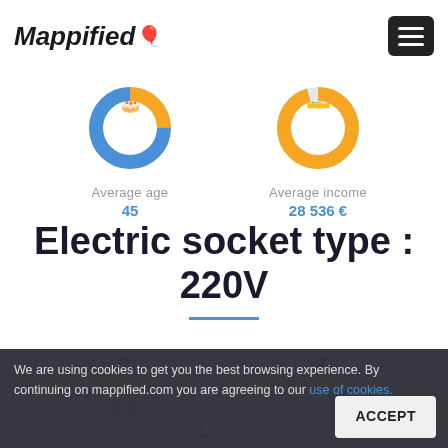Mappified — hamburger menu
[Figure (donut-chart): Donut chart showing average age: 45, blue and gold segments]
Average age
45
[Figure (donut-chart): Donut chart showing average income: 28 536 €, mostly gold]
Average income
28 536 €
Electric socket type : 220V
C    F
L
We are using cookies to get you the best browsing experience. By continuing on mappified.com you are agreeing to our use of cookies.